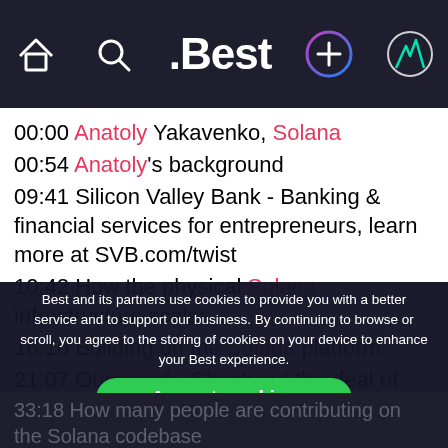.Best navigation bar with home, search, logo, add, and profile icons
00:00 Anatoly Yakavenko, Solana
00:54 Anatoly's background
09:41 Silicon Valley Bank - Banking & financial services for entrepreneurs, learn more at SVB.com/twist
10:42 How the physical Solana infrastructure scales
16:16 Building on the Solana platform
21:07 Ourcrowd - Check out the deal of the week at
Best and its partners use cookies to provide you with a better service and to support our business. By continuing to browse or scroll, you agree to the storing of cookies on your device to enhance your Best experience.
25:51 Solana is different than Ethereum
30:05 How Solana proof-of-stake works
31:52 MarketerHire 15% off your first hire at MarketerHire.com/twist
33:18 How many people are contributing on the Solana codebase
Accept cookies
Only essentials
Learn more about our privacy policy.